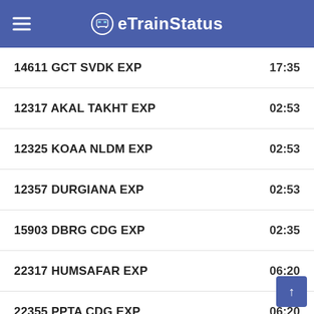eTrainStatus
14611 GCT SVDK EXP  17:35
12317 AKAL TAKHT EXP  02:53
12325 KOAA NLDM EXP  02:53
12357 DURGIANA EXP  02:53
15903 DBRG CDG EXP  02:35
22317 HUMSAFAR EXP  06:20
22355 PPTA CDG EXP  06:20
18103 JALIANWALABAG EX  15:20
15933 NTSK ASR EXPRESS  06:10
14511 NAUCHANDI EXP  22:15